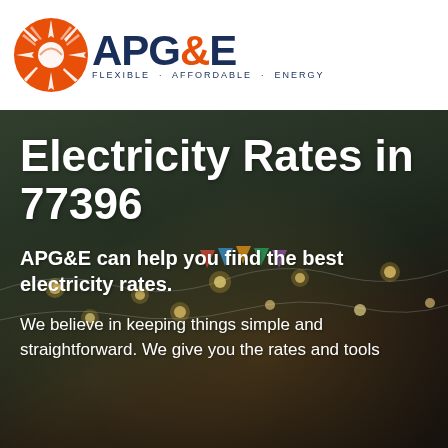[Figure (logo): APG&E logo with orange sun/rays icon and company name 'APG&E' in dark navy blue with tagline 'FLEXIBLE · AFFORDABLE · ENERGY']
Electricity Rates in 77396
APG&E can help you find the best electricity rates.
We believe in keeping things simple and straightforward. We give you the rates and tools